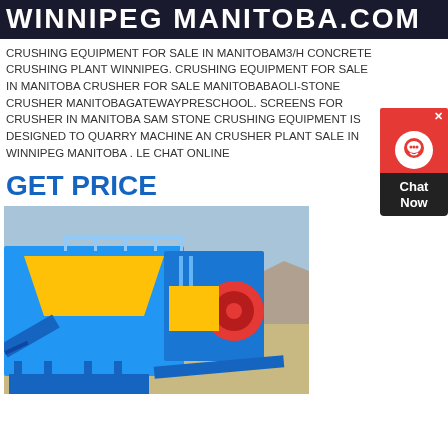WINNIPEG MANITOBA.COM
CRUSHING EQUIPMENT FOR SALE IN MANITOBAM3/H CONCRETE CRUSHING PLANT WINNIPEG. CRUSHING EQUIPMENT FOR SALE IN MANITOBA CRUSHER FOR SALE MANITOBABAOLI-STONE CRUSHER MANITOBAGATEWAYPRESCHOOL. SCREENS FOR CRUSHER IN MANITOBA SAM STONE CRUSHING EQUIPMENT IS DESIGNED TO QUARRY MACHINE AN CRUSHER PLANT SALE IN WINNIPEG MANITOBA . LE CHAT ONLINE
GET PRICE
[Figure (photo): Blue and yellow mobile jaw crusher plant set up in a desert/arid environment with mountains in background]